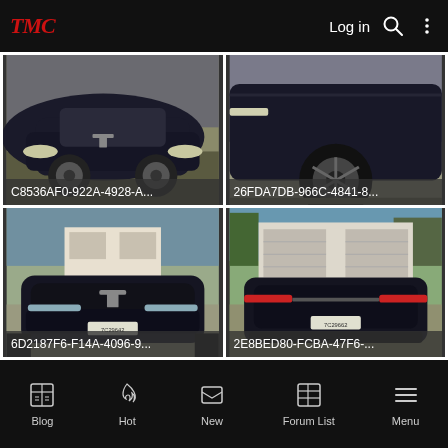TMC — Log in
[Figure (photo): Black Tesla Model S front view, labeled C8536AF0-922A-4928-A...]
[Figure (photo): Black Tesla Model S side wheel view, labeled 26FDA7DB-966C-4841-8...]
[Figure (photo): Black Tesla Model S front view in driveway, labeled 6D2187F6-F14A-4096-9...]
[Figure (photo): Black Tesla Model S rear view in driveway, labeled 2E8BED80-FCBA-47F6-...]
Blog  Hot  New  Forum List  Menu